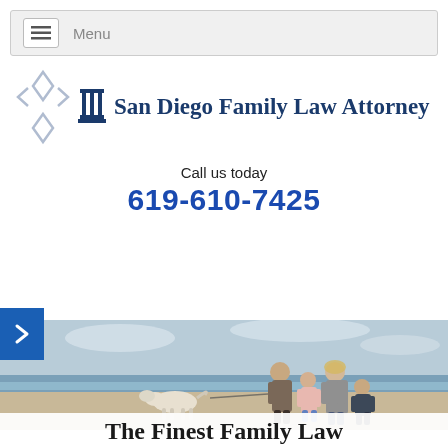Menu
San Diego Family Law Attorney
Call us today
619-610-7425
[Figure (photo): A family with two children and a dog walking on a beach, overcast sky, coastal scene.]
The Finest Family Law